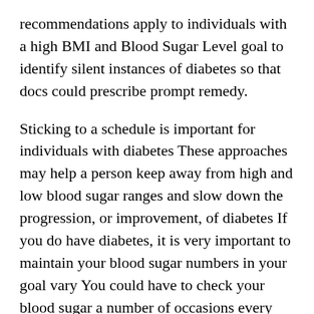recommendations apply to individuals with a high BMI and Blood Sugar Level goal to identify silent instances of diabetes so that docs could prescribe prompt remedy.
Sticking to a schedule is important for individuals with diabetes These approaches may help a person keep away from high and low blood sugar ranges and slow down the progression, or improvement, of diabetes If you do have diabetes, it is very important to maintain your blood sugar numbers in your goal vary You could have to check your blood sugar a number of occasions every day Your health care supplier will also do a blood check called an A1C It checks your average blood sugar level over the previous three months.
Many of the deaths of individuals with sort 1 diabetes are caused by renal failure Persons with diabetes are